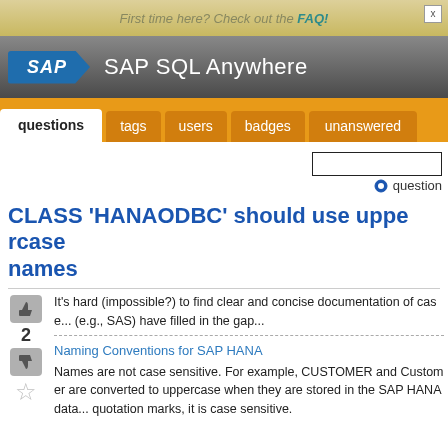First time here? Check out the FAQ!
SAP SQL Anywhere
questions  tags  users  badges  unanswered
CLASS 'HANAODBC' should use uppercase names
It's hard (impossible?) to find clear and concise documentation of case... (e.g., SAS) have filled in the gap...
Naming Conventions for SAP HANA
Names are not case sensitive. For example, CUSTOMER and Customer are converted to uppercase when they are stored in the SAP HANA data... quotation marks, it is case sensitive.